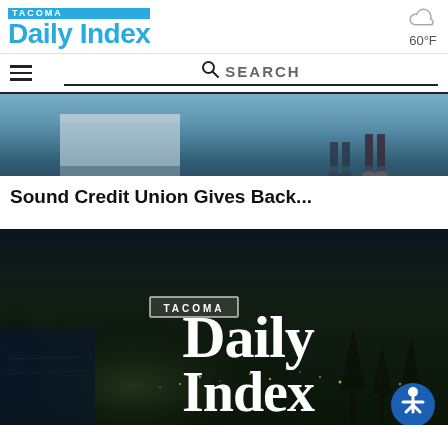TACOMA Daily Index — 60°F
[Figure (screenshot): Navigation bar with hamburger menu and SEARCH bar]
[Figure (photo): Partial top photo showing people's legs/feet on a platform, blue-grey toned]
Sound Credit Union Gives Back...
[Figure (photo): Tacoma Daily Index logo over aerial night photo of Tacoma cityscape with accessibility button in lower right]